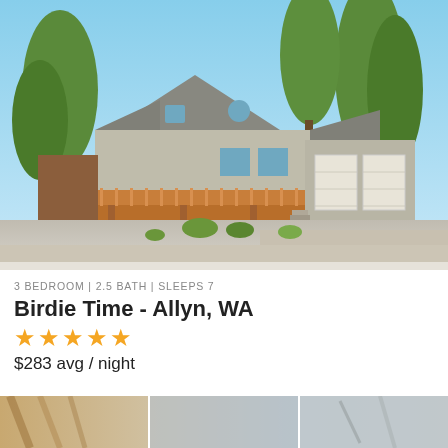[Figure (photo): Exterior photo of a large two-story house with wrap-around deck, three-car garage, and tall evergreen trees in background, under clear blue sky. Located in Allyn, WA.]
3 BEDROOM | 2.5 BATH | SLEEPS 7
Birdie Time - Allyn, WA
[Figure (infographic): Five yellow star rating icons]
$283 avg / night
[Figure (photo): Partial bottom strip showing interior or exterior detail photo, partially cut off at bottom of page.]